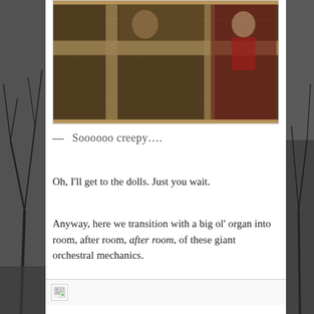[Figure (photo): A dark antique painting visible through a wooden frame or stretcher bars, showing figures including what appears to be a child or doll figure in red clothing on the right side.]
— Soooooo creepy….
Oh, I'll get to the dolls. Just you wait.
Anyway, here we transition with a big ol' organ into room, after room, after room, of these giant orchestral mechanics.
[Figure (photo): Broken/missing image placeholder icon]